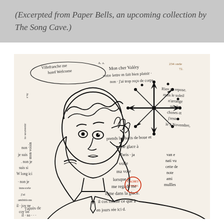(Excerpted from Paper Bells, an upcoming collection by The Song Cave.)
[Figure (illustration): A line-drawing illustration of a person resting their face in their hand, surrounded by handwritten French text and a decorative star/compass rose motif. The handwriting includes phrases referencing 'Mon cher Valéry', 'hotel Welcome', 'Villefranche', 'Paris', and other French text. A red circular stamp is visible on the figure's shoulder.]